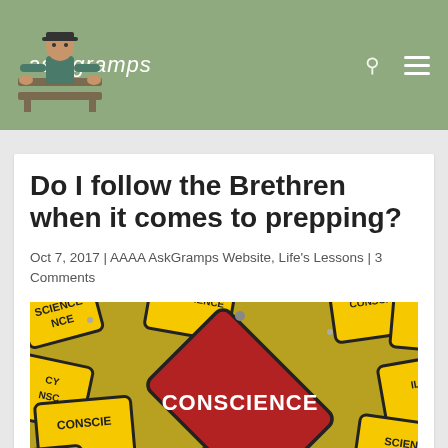ask gramps
Do I follow the Brethren when it comes to prepping?
Oct 7, 2017 | AAAA AskGramps Website, Life's Lessons | 3 Comments
[Figure (photo): Photo of multiple yellow diamond-shaped warning signs with the word CONSCIENCE, with one large red diamond sign in the center also reading CONSCIENCE in white bold text]